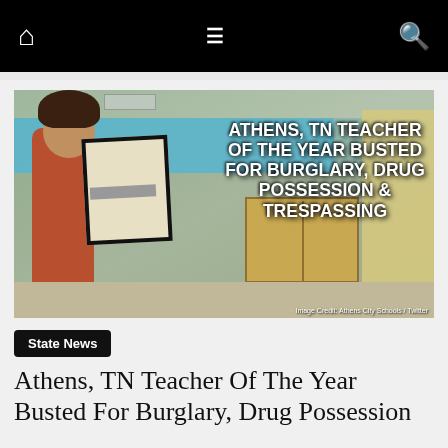Navigation bar with home, menu, and search icons
[Figure (photo): A woman holding a Teacher of the Year certificate in a school library. Overlaid text reads: ATHENS, TN TEACHER OF THE YEAR BUSTED FOR BURGLARY, DRUG POSSESSION & TRESPASSING. Image Credit: Athens City Schools / Twitter]
State News
Athens, TN Teacher Of The Year Busted For Burglary, Drug Possession